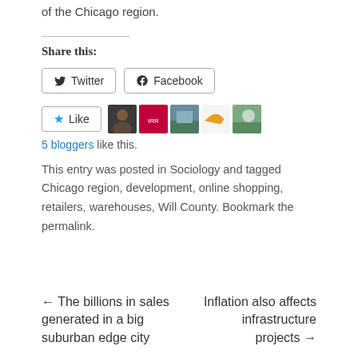of the Chicago region.
Share this:
[Figure (infographic): Twitter and Facebook share buttons]
[Figure (infographic): Like button with 5 blogger avatars]
5 bloggers like this.
This entry was posted in Sociology and tagged Chicago region, development, online shopping, retailers, warehouses, Will County. Bookmark the permalink.
← The billions in sales generated in a big suburban edge city
Inflation also affects infrastructure projects →